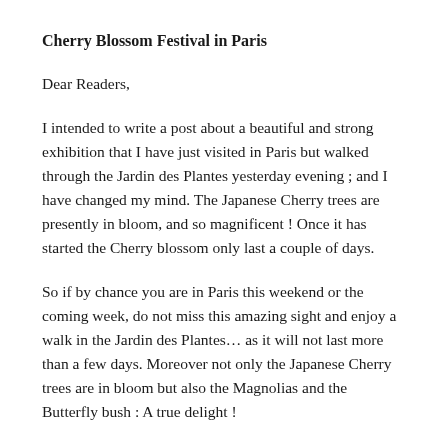Cherry Blossom Festival in Paris
Dear Readers,
I intended to write a post about a beautiful and strong exhibition that I have just visited in Paris but walked through the Jardin des Plantes yesterday evening ; and I have changed my mind. The Japanese Cherry trees are presently in bloom, and so magnificent ! Once it has started the Cherry blossom only last a couple of days.
So if by chance you are in Paris this weekend or the coming week, do not miss this amazing sight and enjoy a walk in the Jardin des Plantes… as it will not last more than a few days. Moreover not only the Japanese Cherry trees are in bloom but also the Magnolias and the Butterfly bush : A true delight !